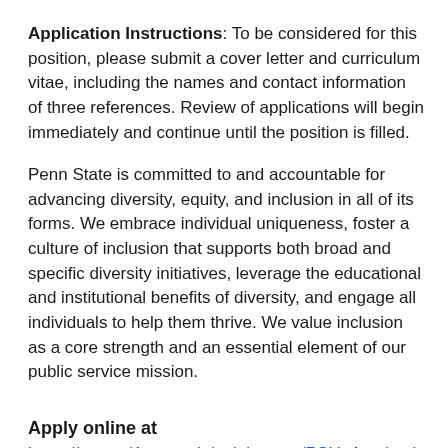Application Instructions: To be considered for this position, please submit a cover letter and curriculum vitae, including the names and contact information of three references. Review of applications will begin immediately and continue until the position is filled.
Penn State is committed to and accountable for advancing diversity, equity, and inclusion in all of its forms. We embrace individual uniqueness, foster a culture of inclusion that supports both broad and specific diversity initiatives, leverage the educational and institutional benefits of diversity, and engage all individuals to help them thrive. We value inclusion as a core strength and an essential element of our public service mission.
Apply online at https://psu.wd1.myworkdayjobs.com/PSU_Academic/job/University-Park-Campus/Assistant-Teaching-Professor-